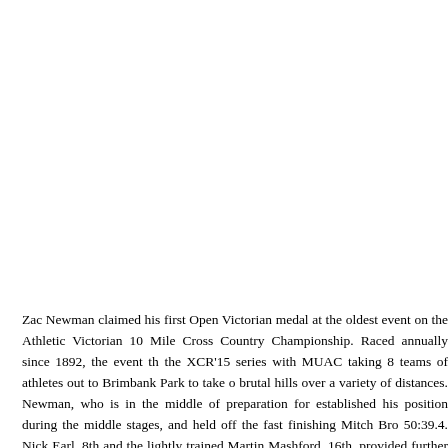Zac Newman claimed his first Open Victorian medal at the oldest event on the Athletic Victorian 10 Mile Cross Country Championship. Raced annually since 1892, the event th the XCR'15 series with MUAC taking 8 teams of athletes out to Brimbank Park to take o brutal hills over a variety of distances. Newman, who is in the middle of preparation for established his position during the middle stages, and held off the fast finishing Mitch Bro 50:39.4. Nick Earl, 8th and the lightly trained Martin Mashford, 16th, provided further lo impressive runs by Winter Manager Max Ueda, ultramarathon madman Paul Munro a MUAC into second place in the Premier Men Division. Strong running continued do Division 2 and 3 Men's teams taking 5th and 2nd place respectively. In Division 5 the te Shortis claimed another victory over Tony Brain in the season long grudge match, with bo